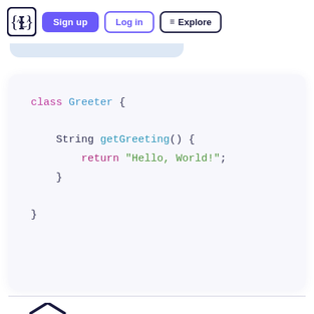{·} Sign up  Log in  ≡ Explore
[Figure (screenshot): Code block showing Java class Greeter with getGreeting() method returning Hello, World!]